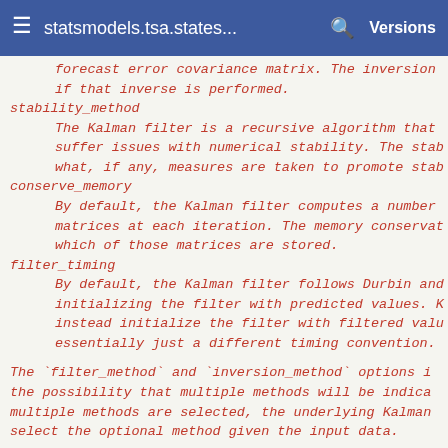statsmodels.tsa.states...   Versions
forecast error covariance matrix. The inversion
    if that inverse is performed.
stability_method
    The Kalman filter is a recursive algorithm that
    suffer issues with numerical stability. The stab
    what, if any, measures are taken to promote stab
conserve_memory
    By default, the Kalman filter computes a number
    matrices at each iteration. The memory conservat
    which of those matrices are stored.
filter_timing
    By default, the Kalman filter follows Durbin and
    initializing the filter with predicted values. K
    instead initialize the filter with filtered valu
    essentially just a different timing convention.
The `filter_method` and `inversion_method` options i
    the possibility that multiple methods will be indica
    multiple methods are selected, the underlying Kalman
    select the optional method given the input data.